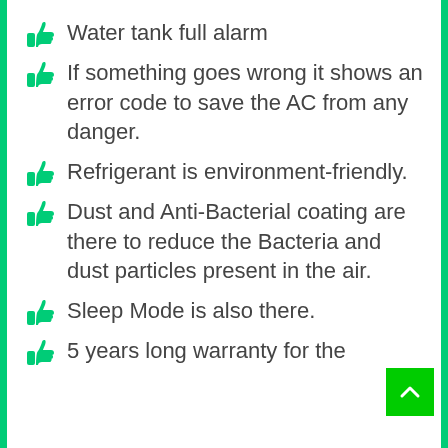Water tank full alarm
If something goes wrong it shows an error code to save the AC from any danger.
Refrigerant is environment-friendly.
Dust and Anti-Bacterial coating are there to reduce the Bacteria and dust particles present in the air.
Sleep Mode is also there.
5 years long warranty for the